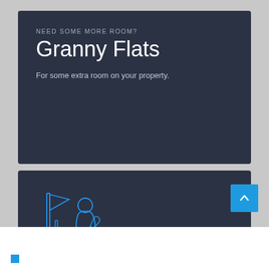NEED SOME MORE ROOM?
Granny Flats
For some extra room on your property.
[Figure (illustration): Blue line icon of a person doing repairs/maintenance work with tools]
NEED SOME REPAIRS?
Maintenance & Repairs
For home repairs and odd jobs around the home.